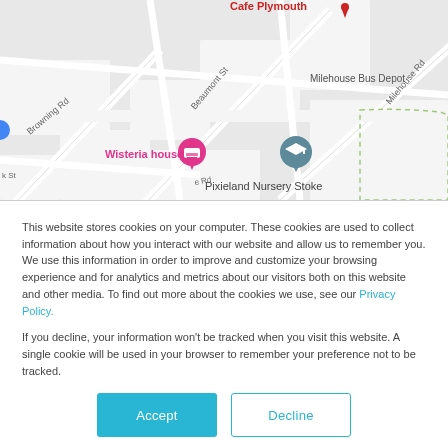[Figure (map): Google Maps screenshot showing street map of Plymouth area with labels: Cafe Plymouth (red, top), Browning Rd, Beaumont St, Milehouse Rd, Milehouse Bus Depot, Wisteria house (pink marker), Pixieland Nursery Stoke (grey school marker)]
This website stores cookies on your computer. These cookies are used to collect information about how you interact with our website and allow us to remember you. We use this information in order to improve and customize your browsing experience and for analytics and metrics about our visitors both on this website and other media. To find out more about the cookies we use, see our Privacy Policy.
If you decline, your information won't be tracked when you visit this website. A single cookie will be used in your browser to remember your preference not to be tracked.